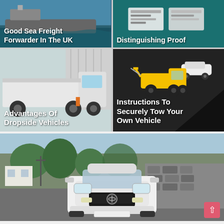[Figure (photo): Sea freight ship with text overlay: Good Sea Freight Forwarder In The UK]
[Figure (photo): Tachograph/proof illustration with text overlay: Distinguishing Proof]
[Figure (photo): Dropside flatbed truck photo with text overlay: Advantages Of Dropside Vehicles]
[Figure (infographic): Tow truck illustration on dark background with text: Instructions To Securely Tow Your Own Vehicle]
[Figure (photo): White Nissan car photographed from front on a road with stone wall and trees in background]